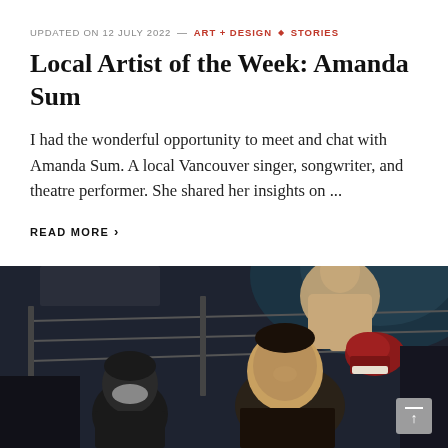UPDATED ON 12 JULY 2022 — ART + DESIGN · STORIES
Local Artist of the Week: Amanda Sum
I had the wonderful opportunity to meet and chat with Amanda Sum. A local Vancouver singer, songwriter, and theatre performer. She shared her insights on ...
READ MORE ›
[Figure (photo): A dark photo showing a boxing ring scene with a shirtless boxer wearing red gloves leaning on the ropes, and two men in dark clothing below in the foreground.]